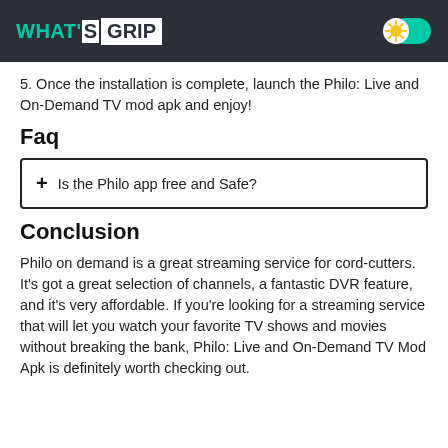WHAT'S GRIP
5. Once the installation is complete, launch the Philo: Live and On-Demand TV mod apk and enjoy!
Faq
+ Is the Philo app free and Safe?
Conclusion
Philo on demand is a great streaming service for cord-cutters. It's got a great selection of channels, a fantastic DVR feature, and it's very affordable. If you're looking for a streaming service that will let you watch your favorite TV shows and movies without breaking the bank, Philo: Live and On-Demand TV Mod Apk is definitely worth checking out.